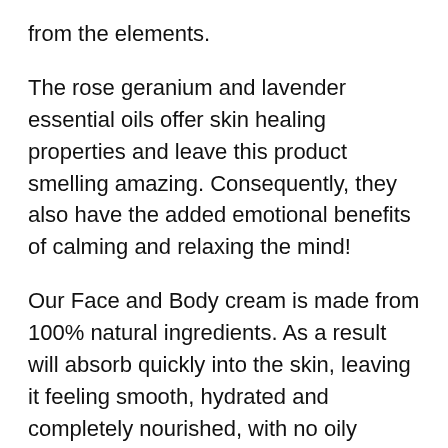from the elements.
The rose geranium and lavender essential oils offer skin healing properties and leave this product smelling amazing. Consequently, they also have the added emotional benefits of calming and relaxing the mind!
Our Face and Body cream is made from 100% natural ingredients. As a result will absorb quickly into the skin, leaving it feeling smooth, hydrated and completely nourished, with no oily residue.
This product can be used on both your face and body. Therefore, you no longer need two separate creams. This special little jar can